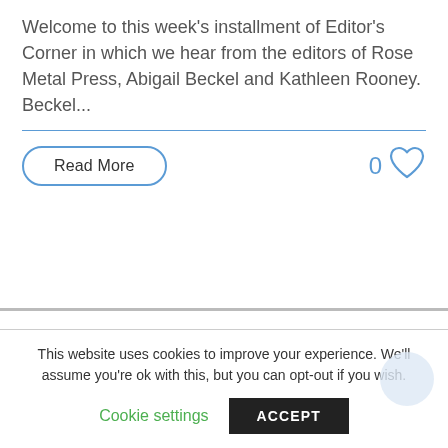Welcome to this week's installment of Editor's Corner in which we hear from the editors of Rose Metal Press, Abigail Beckel and Kathleen Rooney. Beckel...
Read More
0
This website uses cookies to improve your experience. We'll assume you're ok with this, but you can opt-out if you wish.
Cookie settings
ACCEPT